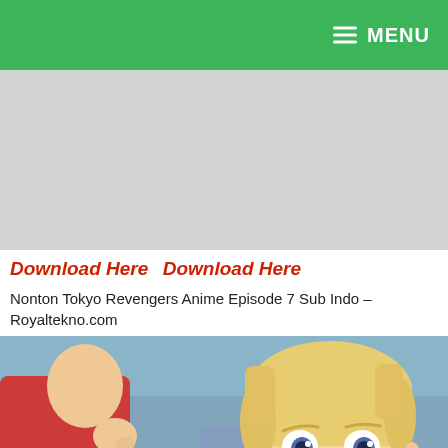MENU
[Figure (other): Gray advertisement banner placeholder]
Download Here  Download Here
Nonton Tokyo Revengers Anime Episode 7 Sub Indo – Royaltekno.com
[Figure (photo): Anime screenshot from Tokyo Revengers showing a blonde young male character looking up, with another character partially visible on the left, in a outdoor scene with bluish background]